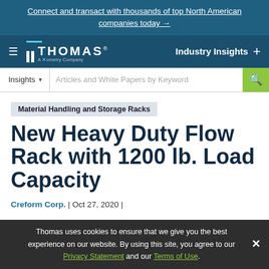Connect and transact with thousands of top North American companies today →
[Figure (logo): Thomas - A Xometry Company logo with navigation bar showing Industry Insights]
Insights ▾  Articles and White Papers by Keyword [search button]
Material Handling and Storage Racks
New Heavy Duty Flow Rack with 1200 lb. Load Capacity
Creform Corp. | Oct 27, 2020 |
Thomas uses cookies to ensure that we give you the best experience on our website. By using this site, you agree to our Privacy Statement and our Terms of Use.